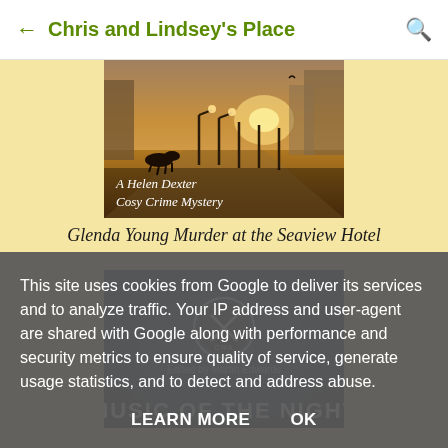Chris and Lindsey's Place
[Figure (photo): Book cover: A Helen Dexter Cosy Crime Mystery - shows a seaside promenade with lamp posts, a dog, and golden light. Text reads 'A Helen Dexter Cosy Crime Mystery']
Glenda Young Murder at the Seaview Hotel
[Figure (photo): Book cover: Edited by Martin Edwards - dark blue background with CWA crossword-style logo. Text partially visible: 'MUSIC OF THE NIGHT']
This site uses cookies from Google to deliver its services and to analyze traffic. Your IP address and user-agent are shared with Google along with performance and security metrics to ensure quality of service, generate usage statistics, and to detect and address abuse.
LEARN MORE   OK